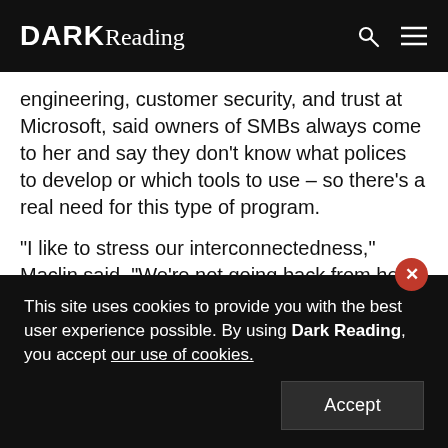DARK Reading
engineering, customer security, and trust at Microsoft, said owners of SMBs always come to her and say they don't know what polices to develop or which tools to use – so there's a real need for this type of program.
"I like to stress our interconnectedness," Maclin said. "We're not going back from here, and we're only as strong as our weakest link … so I think we'll see a progression in security where many of these security functions will become automated and easy to use."
This site uses cookies to provide you with the best user experience possible. By using Dark Reading, you accept our use of cookies.